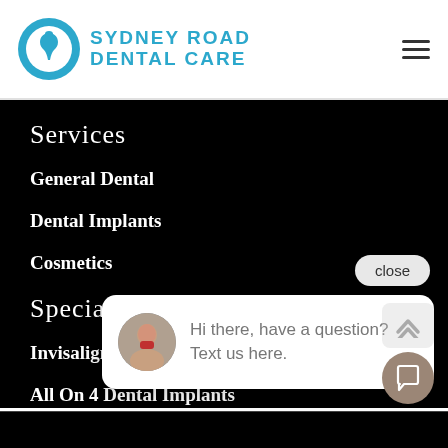[Figure (logo): Sydney Road Dental Care logo with blue tooth icon and blue text]
Services
General Dental
Dental Implants
Cosmetics
Special Ser[vices]
Invisalign
All On 4 Dental Implants
Cerec One Day Crowns
[Figure (screenshot): Chat popup overlay: close button, avatar photo of woman, text: Hi there, have a question? Text us here.]